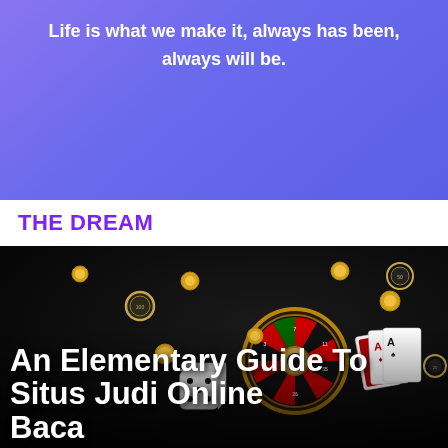[Figure (illustration): Purple/violet gradient banner background with white bold text quote]
Life is what we make it, always has been, always will be.
THE DREAM
[Figure (photo): Dark casino-themed image with roulette wheel, playing cards, dice, poker chips, and gold coins scattered around on a black background. White bold text overlay at bottom reads: An Elementary Guide To Situs Judi Online Baca...]
An Elementary Guide To Situs Judi Online Baca